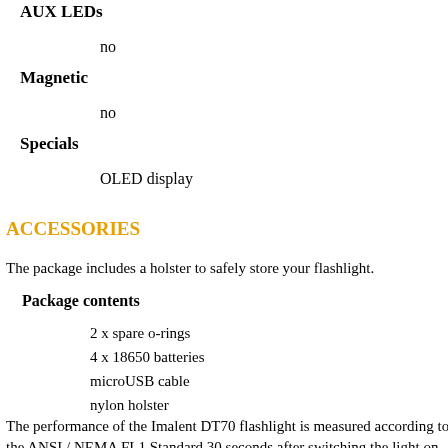AUX LEDs
no
Magnetic
no
Specials
OLED display
ACCESSORIES
The package includes a holster to safely store your flashlight.
Package contents
2 x spare o-rings
4 x 18650 batteries
microUSB cable
nylon holster
The performance of the Imalent DT70 flashlight is measured according to the ANSI / NEMA FL1 Standard 30 seconds after switching the light on. The ANSI/NEMA FL1 2009 Standard is a set